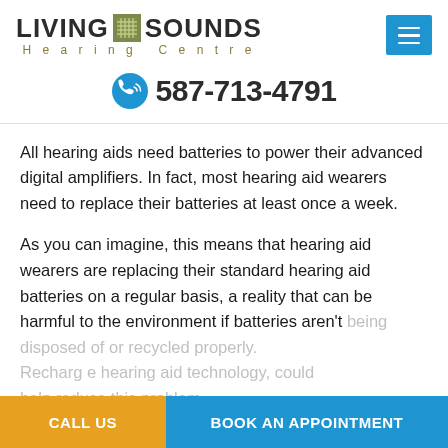[Figure (logo): Living Sounds Hearing Centre logo with olive/green square icon between LIVING and SOUNDS text, subtitle Hearing Centre in gold spaced letters]
587-713-4791
All hearing aids need batteries to power their advanced digital amplifiers. In fact, most hearing aid wearers need to replace their batteries at least once a week.
As you can imagine, this means that hearing aid wearers are replacing their standard hearing aid batteries on a regular basis, a reality that can be harmful to the environment if batteries aren't being disposed of or recycled properly. Rechargeable hearing aid technology, could help reduce this problem.
CALL US
BOOK AN APPOINTMENT